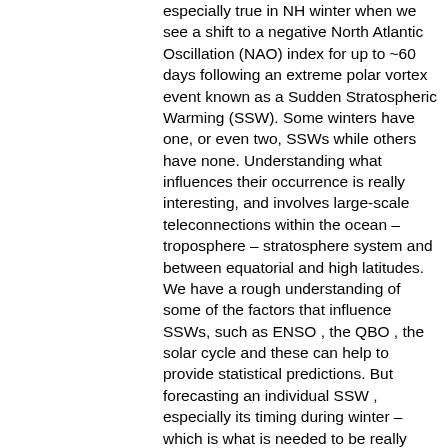especially true in NH winter when we see a shift to a negative North Atlantic Oscillation (NAO) index for up to ~60 days following an extreme polar vortex event known as a Sudden Stratospheric Warming (SSW). Some winters have one, or even two, SSWs while others have none. Understanding what influences their occurrence is really interesting, and involves large-scale teleconnections within the ocean – troposphere – stratosphere system and between equatorial and high latitudes. We have a rough understanding of some of the factors that influence SSWs, such as ENSO , the QBO , the solar cycle and these can help to provide statistical predictions. But forecasting an individual SSW , especially its timing during winter – which is what is needed to be really useful – has proved a real challenge for seasonal forecasters. That'll will in some reviews of th